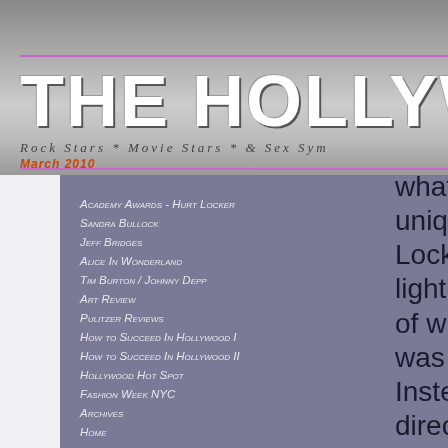THE HOLLYWOOD SEN
Rock Stars * Movie Stars * & Sex Sym
March 2010
Academy Awards - Hurt Locker
Sandra Bullock
Jeff Bridges
Alice In Wonderland
Tim Burton / Johnny Depp
Art Review
Pulitzer Reviews
How to Succeed In Hollywood I
How to Succeed In Hollywood II
Hollywood Hot Spot
Fashion Week NYC
Archives
Home
what is even more unique is that Hurt Locker is not some lighthearted love story of wine and roses that was an easy shoot. Instead, Ms. Bigelow directed a gripping, edge of the seat war